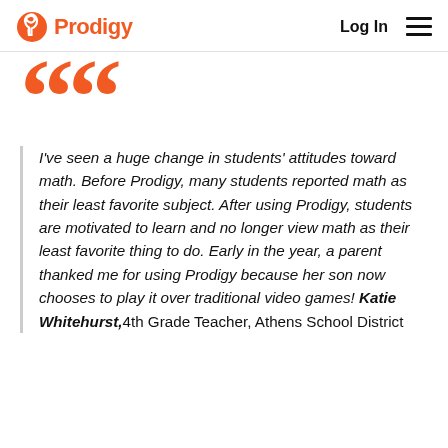Prodigy | Log In
[Figure (logo): Prodigy logo with orange circular icon and orange bold text 'Prodigy', plus 'Log In' navigation and hamburger menu]
I've seen a huge change in students' attitudes toward math. Before Prodigy, many students reported math as their least favorite subject. After using Prodigy, students are motivated to learn and no longer view math as their least favorite thing to do. Early in the year, a parent thanked me for using Prodigy because her son now chooses to play it over traditional video games! Katie Whitehurst, 4th Grade Teacher, Athens School District